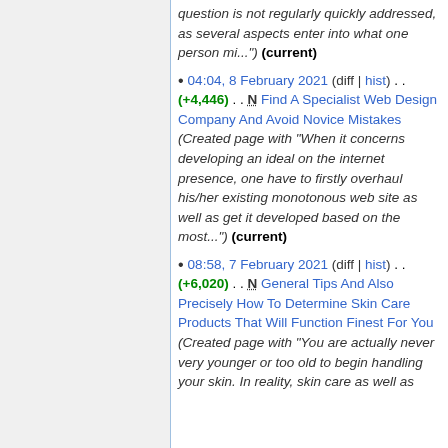question is not regularly quickly addressed, as several aspects enter into what one person mi...") (current)
04:04, 8 February 2021 (diff | hist) . . (+4,446) . . N Find A Specialist Web Design Company And Avoid Novice Mistakes (Created page with "When it concerns developing an ideal on the internet presence, one have to firstly overhaul his/her existing monotonous web site as well as get it developed based on the most...") (current)
08:58, 7 February 2021 (diff | hist) . . (+6,020) . . N General Tips And Also Precisely How To Determine Skin Care Products That Will Function Finest For You (Created page with "You are actually never very younger or too old to begin handling your skin. In reality, skin care as well as